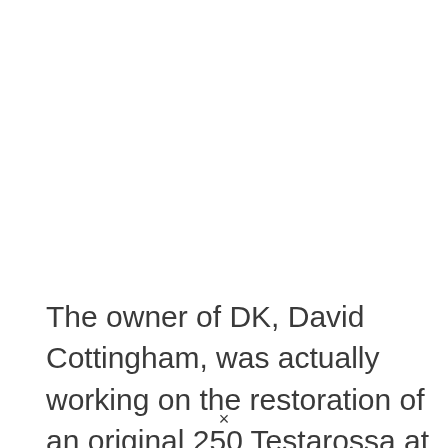The owner of DK, David Cottingham, was actually working on the restoration of an original 250 Testarossa at the time and wanted to create a
×